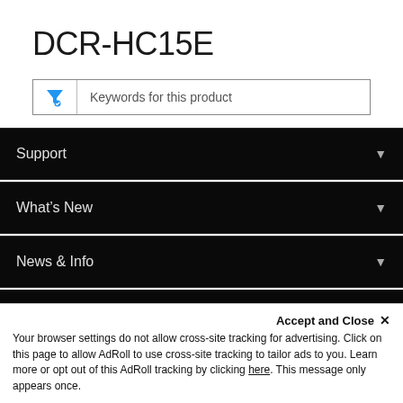DCR-HC15E
Keywords for this product
Support
What’s New
News & Info
New Zealand
Accept and Close ×
Your browser settings do not allow cross-site tracking for advertising. Click on this page to allow AdRoll to use cross-site tracking to tailor ads to you. Learn more or opt out of this AdRoll tracking by clicking here. This message only appears once.